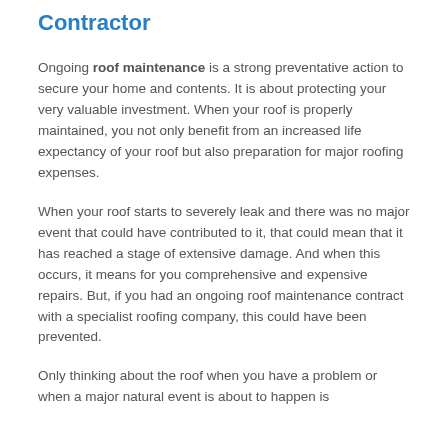Contractor
Ongoing roof maintenance is a strong preventative action to secure your home and contents. It is about protecting your very valuable investment. When your roof is properly maintained, you not only benefit from an increased life expectancy of your roof but also preparation for major roofing expenses.
When your roof starts to severely leak and there was no major event that could have contributed to it, that could mean that it has reached a stage of extensive damage. And when this occurs, it means for you comprehensive and expensive repairs. But, if you had an ongoing roof maintenance contract with a specialist roofing company, this could have been prevented.
Only thinking about the roof when you have a problem or when a major natural event is about to happen is